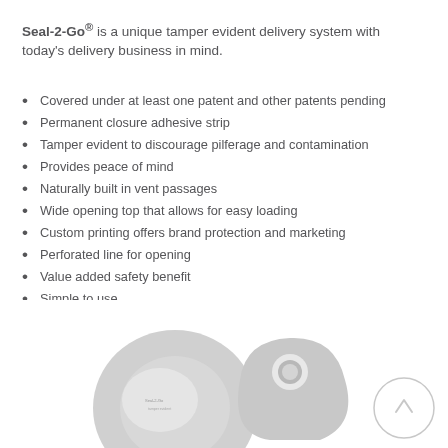Seal-2-Go® is a unique tamper evident delivery system with today's delivery business in mind.
Covered under at least one patent and other patents pending
Permanent closure adhesive strip
Tamper evident to discourage pilferage and contamination
Provides peace of mind
Naturally built in vent passages
Wide opening top that allows for easy loading
Custom printing offers brand protection and marketing
Perforated line for opening
Value added safety benefit
Simple to use
[Figure (photo): Product photos showing Seal-2-Go tamper evident delivery bags/seals, including a circular disc and a key-fob shaped piece, with a circular arrow icon in the bottom right corner]